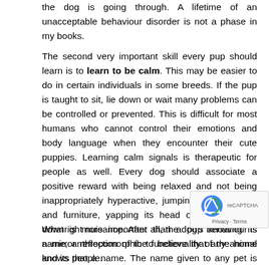the dog is going through. A lifetime of an unacceptable behaviour disorder is not a phase in my books.
The second very important skill every pup should learn is to learn to be calm. This may be easier to do in certain individuals in some breeds. If the pup is taught to sit, lie down or wait many problems can be controlled or prevented. This is difficult for most humans who cannot control their emotions and body language when they encounter their cute puppies. Learning calm signals is therapeutic for people as well. Every dog should associate a positive reward with being relaxed and not being inappropriately hyperactive, jumping up on people and furniture, yapping its head off and being a downright nuisance. After all, the dog's behaviour is a mirror reflection of the functionality of the home and its people.
What is more important than a pup knowing its name, anthropomorphic to believe that any animal knows that a name. The name given to any pet is purely for our sentiment